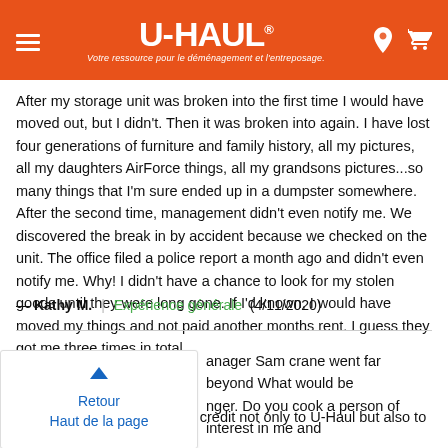U-HAUL | Votre ressource pour le déménagement et l'entreposage.
After my storage unit was broken into the first time I would have moved out, but I didn't. Then it was broken into again. I have lost four generations of furniture and family history, all my pictures, all my daughters AirForce things, all my grandsons pictures...so many things that I'm sure ended up in a dumpster somewhere. After the second time, management didn't even notify me. We discovered the break in by accident because we checked on the unit. The office filed a police report a month ago and didn't even notify me. Why! I didn't have a chance to look for my stolen goods until they were long gone. If I'd known, I would have moved my things and not paid another months rent. I guess they got me three times in total.
— Kathy M. | Expérience générale (4/11/2020)
Retour Haut de la page
anager Sam crane went far beyond What would be nger. Do you cook a person of interest in me and any of my problems. He is a credit not only to U-Haul but also to